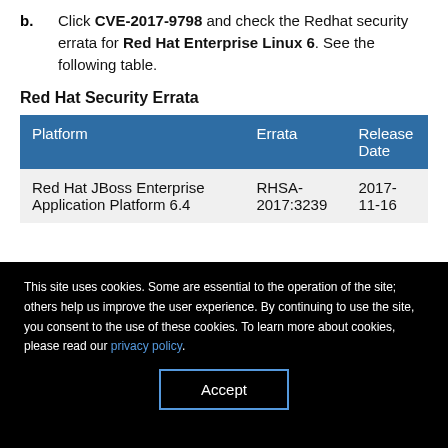b. Click CVE-2017-9798 and check the Redhat security errata for Red Hat Enterprise Linux 6. See the following table.
Red Hat Security Errata
| Platform | Errata | Release Date |
| --- | --- | --- |
| Red Hat JBoss Enterprise Application Platform 6.4 | RHSA-2017:3239 | 2017-11-16 |
This site uses cookies. Some are essential to the operation of the site; others help us improve the user experience. By continuing to use the site, you consent to the use of these cookies. To learn more about cookies, please read our privacy policy.